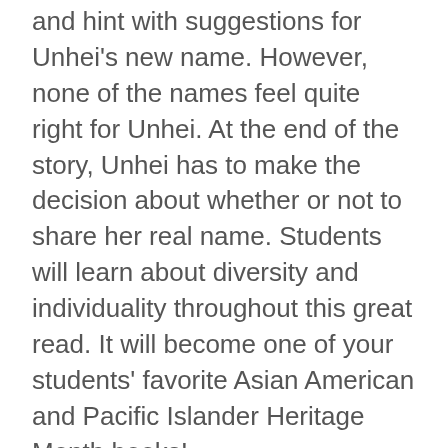and hint with suggestions for Unhei's new name. However, none of the names feel quite right for Unhei. At the end of the story, Unhei has to make the decision about whether or not to share her real name. Students will learn about diversity and individuality throughout this great read. It will become one of your students' favorite Asian American and Pacific Islander Heritage Month books!
3. My Name is Yoon by Helen Recorvits
In My Name is Yoon, Yoon is a young girl who has just moved from Korea to America with her parents. Soon she will be starting school so she must learn to print her name in English. He father sits her down to show her what her name looks like printed in English. Yoon does